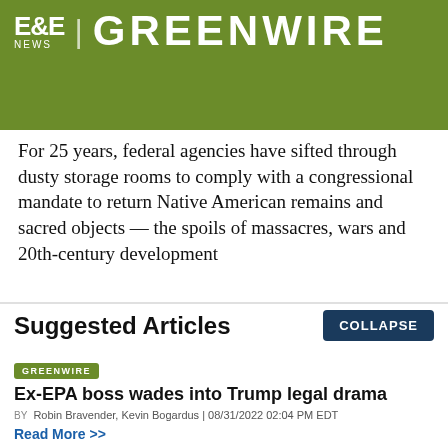[Figure (logo): E&E News | Greenwire logo on olive/dark green background]
For 25 years, federal agencies have sifted through dusty storage rooms to comply with a congressional mandate to return Native American remains and sacred objects — the spoils of massacres, wars and 20th-century development
Suggested Articles
Ex-EPA boss wades into Trump legal drama
BY Robin Bravender, Kevin Bogardus | 08/31/2022 02:04 PM EDT
Read More >>
Audit uncovers staffing, morale woes at key USGS water lab